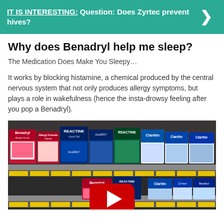IT IS INTERESTING: Question: Does Zyrtec prevent hives?
Why does Benadryl help me sleep?
The Medication Does Make You Sleepy…
It works by blocking histamine, a chemical produced by the central nervous system that not only produces allergy symptoms, but plays a role in wakefulness (hence the insta-drowsy feeling after you pop a Benadryl).
[Figure (photo): Pharmacy store shelf displaying allergy medication boxes including Benadryl, Reactine, and Claritin brands, with a YouTube play button overlay in the center]